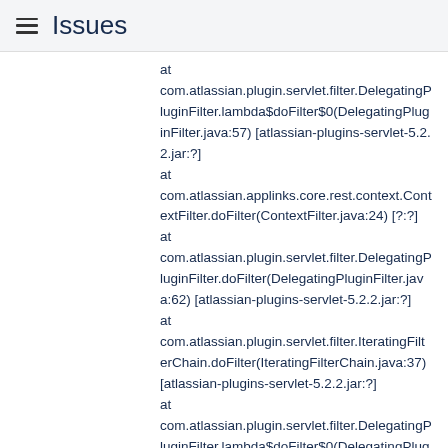Issues
at com.atlassian.plugin.servlet.filter.DelegatingPluginFilter.lambda$doFilter$0(DelegatingPluginFilter.java:57) [atlassian-plugins-servlet-5.2.2.jar:?]
at com.atlassian.applinks.core.rest.context.ContextFilter.doFilter(ContextFilter.java:24) [?:?]
at com.atlassian.plugin.servlet.filter.DelegatingPluginFilter.doFilter(DelegatingPluginFilter.java:62) [atlassian-plugins-servlet-5.2.2.jar:?]
at com.atlassian.plugin.servlet.filter.IteratingFilterChain.doFilter(IteratingFilterChain.java:37) [atlassian-plugins-servlet-5.2.2.jar:?]
at com.atlassian.plugin.servlet.filter.DelegatingPluginFilter.lambda$doFilter$0(DelegatingPluginFilter.java:57) [atlassian-plugins-servlet-5.2.2.jar:?]
at